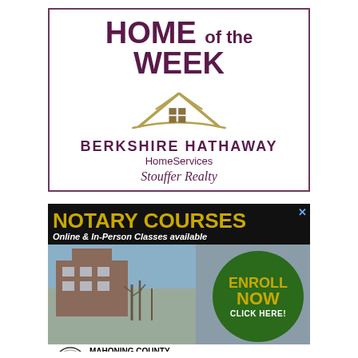[Figure (logo): Berkshire Hathaway HomeServices Stouffer Realty - Home of the Week advertisement with house icon logo, purple border]
[Figure (infographic): Notary Courses advertisement - black background with gold text, green enroll now circle, building photo, Mahoning County Bar Association footer with seal]